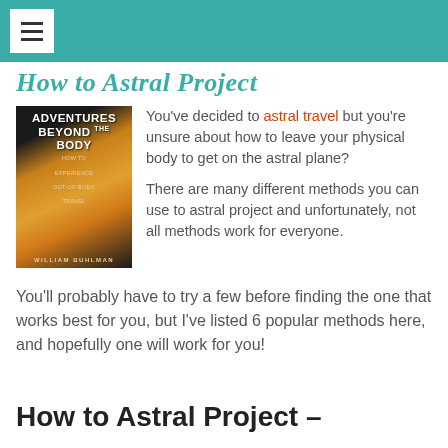How to Astral Project
[Figure (photo): Book cover of 'Adventures Beyond the Body' by William Buhlman. Dark cover with silhouette of a face and orange/yellow background gradient.]
You've decided to astral travel but you're unsure about how to leave your physical body to get on the astral plane?
There are many different methods you can use to astral project and unfortunately, not all methods work for everyone.
You'll probably have to try a few before finding the one that works best for you, but I've listed 6 popular methods here, and hopefully one will work for you!
How to Astral Project –